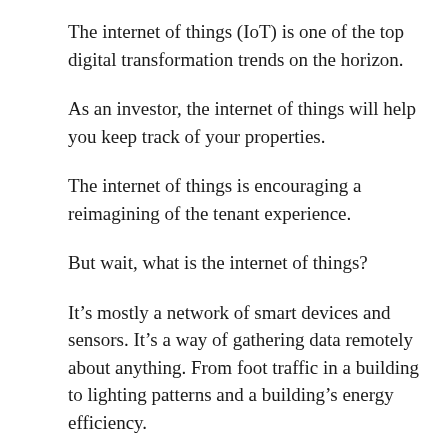The internet of things (IoT) is one of the top digital transformation trends on the horizon.
As an investor, the internet of things will help you keep track of your properties.
The internet of things is encouraging a reimagining of the tenant experience.
But wait, what is the internet of things?
It's mostly a network of smart devices and sensors. It's a way of gathering data remotely about anything. From foot traffic in a building to lighting patterns and a building's energy efficiency.
IBM, of course, is at the forefront of this emerging